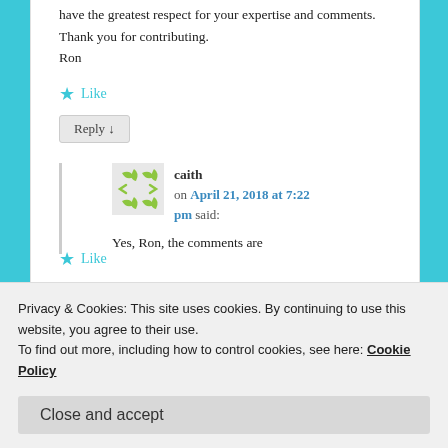have the greatest respect for your expertise and comments. Thank you for contributing.
Ron
Like
Reply ↓
caith on April 21, 2018 at 7:22 pm said:
Yes, Ron, the comments are
Like
Privacy & Cookies: This site uses cookies. By continuing to use this website, you agree to their use.
To find out more, including how to control cookies, see here: Cookie Policy
Close and accept